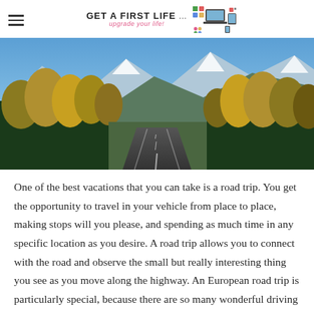Get A First Life ... upgrade your life!
[Figure (photo): A scenic road trip photo showing a straight highway stretching into the distance, flanked by autumn yellow-green trees on both sides, with snow-capped mountains under a bright blue sky in the background.]
One of the best vacations that you can take is a road trip. You get the opportunity to travel in your vehicle from place to place, making stops will you please, and spending as much time in any specific location as you desire. A road trip allows you to connect with the road and observe the small but really interesting thing you see as you move along the highway. An European road trip is particularly special, because there are so many wonderful driving routes that